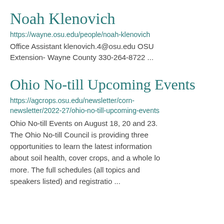Noah Klenovich
https://wayne.osu.edu/people/noah-klenovich
Office Assistant klenovich.4@osu.edu OSU Extension- Wayne County 330-264-8722 ...
Ohio No-till Upcoming Events
https://agcrops.osu.edu/newsletter/corn-newsletter/2022-27/ohio-no-till-upcoming-events
Ohio No-till Events on August 18, 20 and 23. The Ohio No-till Council is providing three opportunities to learn the latest information about soil health, cover crops, and a whole lot more. The full schedules (all topics and speakers listed) and registratio ...